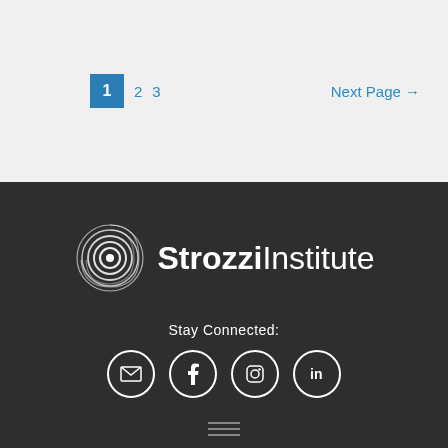1  2  3  Next Page →
[Figure (logo): Strozzi Institute logo with concentric spiral circle icon and text 'StrozziInstitute' in white on dark background]
Stay Connected:
[Figure (infographic): Four social media icons in circles: email/envelope, Facebook (f), Instagram, LinkedIn (in)]
[Figure (other): Hamburger menu icon with three horizontal lines]
© 2022 Strozzi Institute